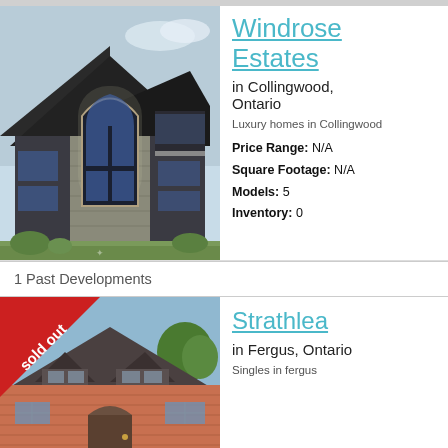[Figure (illustration): Rendering of Windrose Estates home - modern dark exterior with large arched windows and stone facade]
Windrose Estates
in Collingwood, Ontario
Luxury homes in Collingwood
Price Range: N/A
Square Footage: N/A
Models: 5
Inventory: 0
1 Past Developments
[Figure (photo): Photo of Strathlea home - brick house with sold out ribbon banner in corner]
Strathlea
in Fergus, Ontario
Singles in fergus